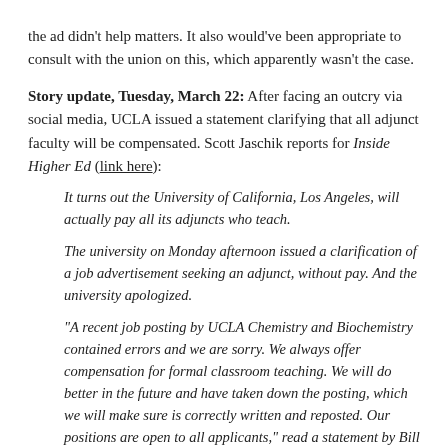the ad didn't help matters. It also would've been appropriate to consult with the union on this, which apparently wasn't the case.
Story update, Tuesday, March 22: After facing an outcry via social media, UCLA issued a statement clarifying that all adjunct faculty will be compensated. Scott Jaschik reports for Inside Higher Ed (link here): It turns out the University of California, Los Angeles, will actually pay all its adjuncts who teach.

The university on Monday afternoon issued a clarification of a job advertisement seeking an adjunct, without pay. And the university apologized.

"A recent job posting by UCLA Chemistry and Biochemistry contained errors and we are sorry. We always offer compensation for formal classroom teaching. We will do better in the future and have taken down the posting, which we will make sure is correctly written and reposted. Our positions are open to all applicants," read a statement by Bill Kisliuk, director of media relations at UCLA.
Share this: